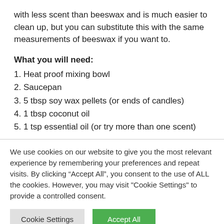with less scent than beeswax and is much easier to clean up, but you can substitute this with the same measurements of beeswax if you want to.
What you will need:
1. Heat proof mixing bowl
2. Saucepan
3. 5 tbsp soy wax pellets (or ends of candles)
4. 1 tbsp coconut oil
5. 1 tsp essential oil (or try more than one scent)
We use cookies on our website to give you the most relevant experience by remembering your preferences and repeat visits. By clicking “Accept All”, you consent to the use of ALL the cookies. However, you may visit "Cookie Settings" to provide a controlled consent.